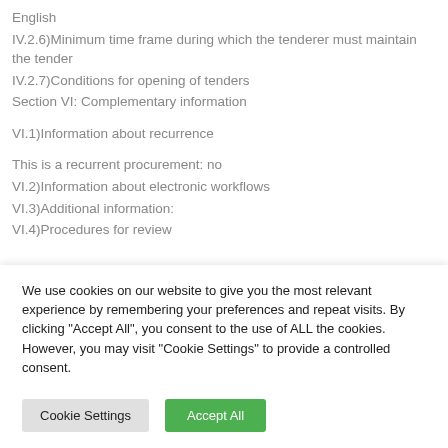English
IV.2.6)Minimum time frame during which the tenderer must maintain the tender
IV.2.7)Conditions for opening of tenders
Section VI: Complementary information
VI.1)Information about recurrence
This is a recurrent procurement: no
VI.2)Information about electronic workflows
VI.3)Additional information:
VI.4)Procedures for review
We use cookies on our website to give you the most relevant experience by remembering your preferences and repeat visits. By clicking "Accept All", you consent to the use of ALL the cookies. However, you may visit "Cookie Settings" to provide a controlled consent.